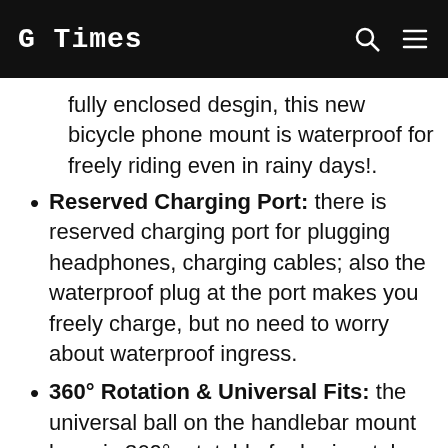G Times
fully enclosed desgin, this new bicycle phone mount is waterproof for freely riding even in rainy days!.
Reserved Charging Port: there is reserved charging port for plugging headphones, charging cables; also the waterproof plug at the port makes you freely charge, but no need to worry about waterproof ingress.
360° Rotation & Universal Fits: the universal ball on the handlebar mount base is 360° rotatable for horizontal screen and vertical screen freely charging; this waterproof motorcycle cellphone mount can universally fit 22-